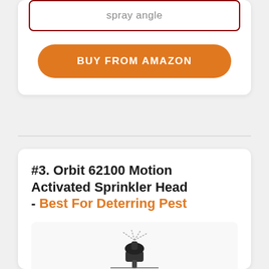spray angle
BUY FROM AMAZON
#3. Orbit 62100 Motion Activated Sprinkler Head - Best For Deterring Pest
[Figure (photo): Orbit 62100 Motion Activated Sprinkler Head product image]